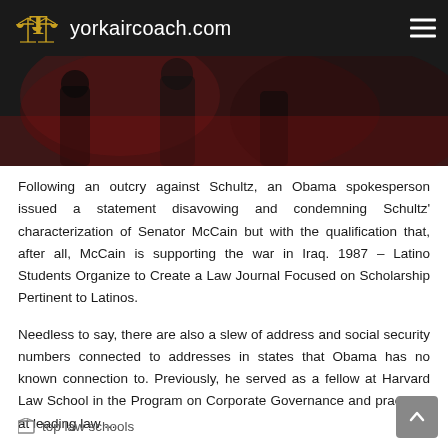yorkaircoach.com
[Figure (photo): Dark hero image with blurred background figures in reddish tones]
Following an outcry against Schultz, an Obama spokesperson issued a statement disavowing and condemning Schultz' characterization of Senator McCain but with the qualification that, after all, McCain is supporting the war in Iraq. 1987 – Latino Students Organize to Create a Law Journal Focused on Scholarship Pertinent to Latinos.
Needless to say, there are also a slew of address and social security numbers connected to addresses in states that Obama has no known connection to. Previously, he served as a fellow at Harvard Law School in the Program on Corporate Governance and practiced at leading law ...
top law schools